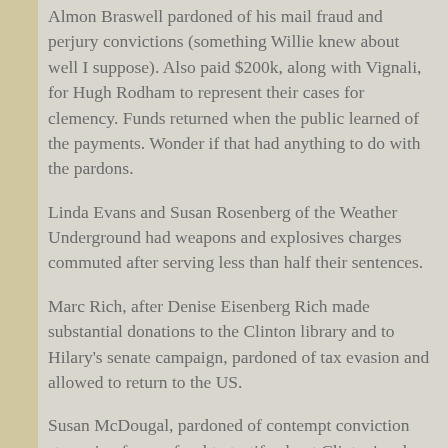Almon Braswell pardoned of his mail fraud and perjury convictions (something Willie knew about well I suppose).  Also paid $200k, along with Vignali, for Hugh Rodham to represent their cases for clemency.  Funds returned when the public learned of the payments. Wonder if that had anything to do with the pardons.
Linda Evans and Susan Rosenberg of the Weather Underground had weapons and explosives charges commuted after serving less than half their sentences.
Marc Rich, after Denise Eisenberg Rich made substantial donations to the Clinton library and to Hilary's senate campaign, pardoned of tax evasion and allowed to return to the US.
Susan McDougal, pardoned of contempt conviction stemming from refusal to testify about Clinton's role in Whitewater.